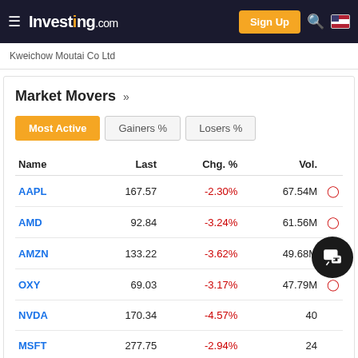Investing.com | Sign Up
Kweichow Moutai Co Ltd
Market Movers »
| Name | Last | Chg. % | Vol. |  |
| --- | --- | --- | --- | --- |
| AAPL | 167.57 | -2.30% | 67.54M |  |
| AMD | 92.84 | -3.24% | 61.56M |  |
| AMZN | 133.22 | -3.62% | 49.68M |  |
| OXY | 69.03 | -3.17% | 47.79M |  |
| NVDA | 170.34 | -4.57% | 40... |  |
| MSFT | 277.75 | -2.94% | 24... |  |